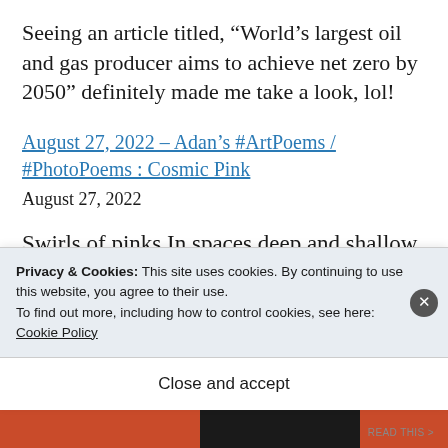Seeing an article titled, “World’s largest oil and gas producer aims to achieve net zero by 2050” definitely made me take a look, lol!
August 27, 2022 – Adan’s #ArtPoems / #PhotoPoems : Cosmic Pink
August 27, 2022
Swirls of pinks In spaces deep and shallow
Privacy & Cookies: This site uses cookies. By continuing to use this website, you agree to their use.
To find out more, including how to control cookies, see here:
Cookie Policy
Close and accept